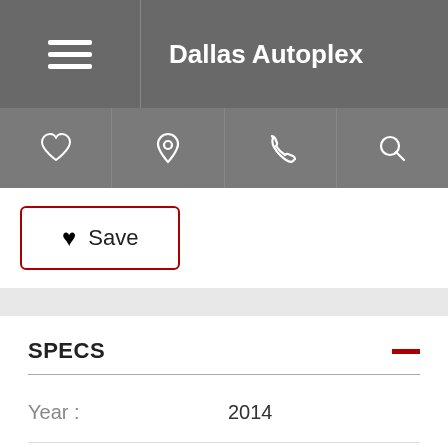Dallas Autoplex
[Figure (screenshot): Navigation icon bar with heart/favorites, location pin, phone, and search icons]
♥ Save
SPECS
| Field | Value |
| --- | --- |
| Year : | 2014 |
| Make : | Cadillac |
| Model : | SRX |
| Miles : | 102,222 |